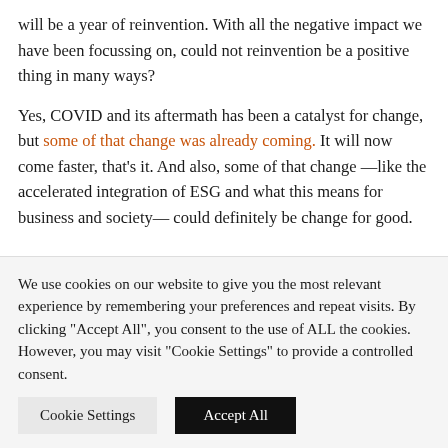will be a year of reinvention. With all the negative impact we have been focussing on, could not reinvention be a positive thing in many ways?
Yes, COVID and its aftermath has been a catalyst for change, but some of that change was already coming. It will now come faster, that's it. And also, some of that change —like the accelerated integration of ESG and what this means for business and society— could definitely be change for good.
We use cookies on our website to give you the most relevant experience by remembering your preferences and repeat visits. By clicking "Accept All", you consent to the use of ALL the cookies. However, you may visit "Cookie Settings" to provide a controlled consent.
Cookie Settings
Accept All